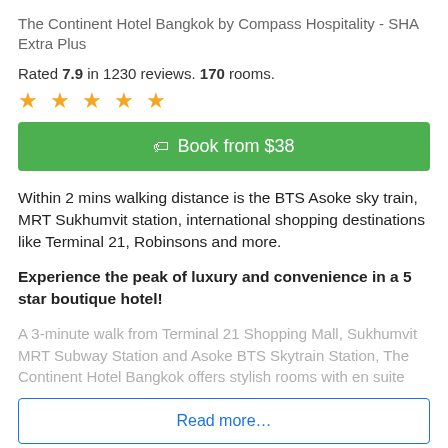The Continent Hotel Bangkok by Compass Hospitality - SHA Extra Plus
Rated 7.9 in 1230 reviews. 170 rooms.
[Figure (other): Five gold star rating icons]
Book from $38
Within 2 mins walking distance is the BTS Asoke sky train, MRT Sukhumvit station, international shopping destinations like Terminal 21, Robinsons and more.
Experience the peak of luxury and convenience in a 5 star boutique hotel!
A 3-minute walk from Terminal 21 Shopping Mall, Sukhumvit MRT Subway Station and Asoke BTS Skytrain Station, The Continent Hotel Bangkok offers stylish rooms with en suite
Read more...